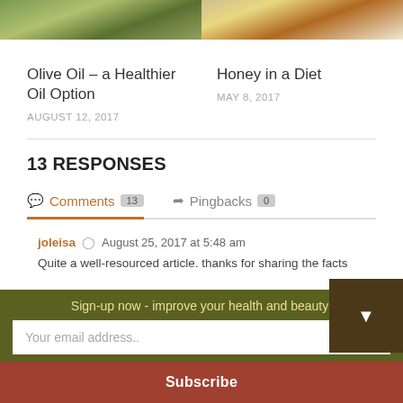[Figure (photo): Two partial food/cooking photos side by side at top: left shows olive oil bottle with herbs, right shows honey being poured into a bowl]
Olive Oil – a Healthier Oil Option
AUGUST 12, 2017
Honey in a Diet
MAY 8, 2017
13 RESPONSES
Comments 13   Pingbacks 0
joleisa  August 25, 2017 at 5:48 am
Quite a well-resourced article. thanks for sharing the facts
Sign-up now - improve your health and beauty!
Your email address..
Subscribe